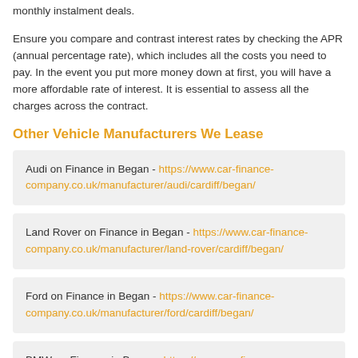monthly instalment deals.
Ensure you compare and contrast interest rates by checking the APR (annual percentage rate), which includes all the costs you need to pay. In the event you put more money down at first, you will have a more affordable rate of interest. It is essential to assess all the charges across the contract.
Other Vehicle Manufacturers We Lease
Audi on Finance in Began - https://www.car-finance-company.co.uk/manufacturer/audi/cardiff/began/
Land Rover on Finance in Began - https://www.car-finance-company.co.uk/manufacturer/land-rover/cardiff/began/
Ford on Finance in Began - https://www.car-finance-company.co.uk/manufacturer/ford/cardiff/began/
BMW on Finance in Began - https://www.car-finance-company.co.uk/manufacturer/...